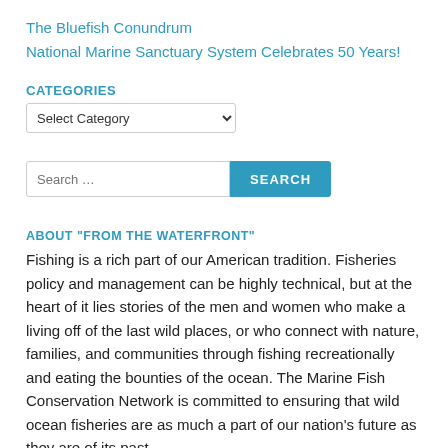The Bluefish Conundrum
National Marine Sanctuary System Celebrates 50 Years!
CATEGORIES
[Figure (screenshot): Dropdown select box labeled 'Select Category']
[Figure (screenshot): Search input box with placeholder 'Search ...' and a blue SEARCH button]
ABOUT "FROM THE WATERFRONT"
Fishing is a rich part of our American tradition. Fisheries policy and management can be highly technical, but at the heart of it lies stories of the men and women who make a living off of the last wild places, or who connect with nature, families, and communities through fishing recreationally and eating the bounties of the ocean. The Marine Fish Conservation Network is committed to ensuring that wild ocean fisheries are as much a part of our nation's future as they are of its past.